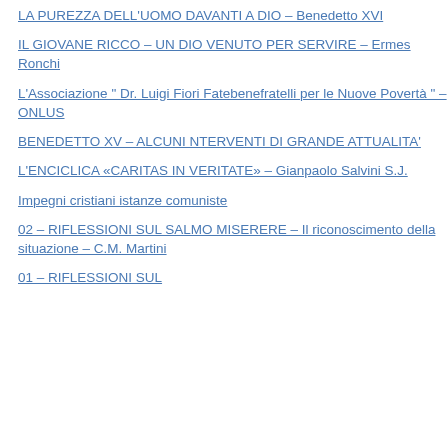LA PUREZZA DELL'UOMO DAVANTI A DIO – Benedetto XVI
IL GIOVANE RICCO – UN DIO VENUTO PER SERVIRE – Ermes Ronchi
L'Associazione " Dr. Luigi Fiori Fatebenefratelli per le Nuove Povertà " – ONLUS
BENEDETTO XV – ALCUNI NTERVENTI DI GRANDE ATTUALITA'
L'ENCICLICA «CARITAS IN VERITATE» – Gianpaolo Salvini S.J.
Impegni cristiani istanze comuniste
02 – RIFLESSIONI SUL SALMO MISERERE – Il riconoscimento della situazione – C.M. Martini
01 – RIFLESSIONI SUL